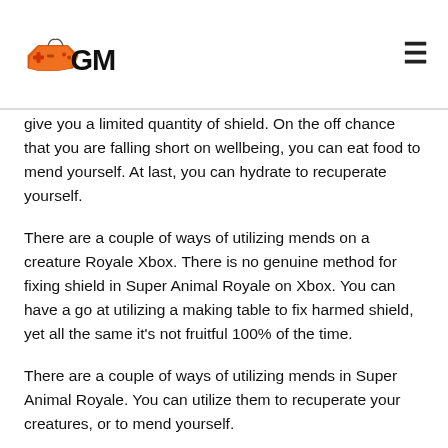GGM logo and hamburger menu
give you a limited quantity of shield. On the off chance that you are falling short on wellbeing, you can eat food to mend yourself. At last, you can hydrate to recuperate yourself.
There are a couple of ways of utilizing mends on a creature Royale Xbox. There is no genuine method for fixing shield in Super Animal Royale on Xbox. You can have a go at utilizing a making table to fix harmed shield, yet all the same it's not fruitful 100% of the time.
There are a couple of ways of utilizing mends in Super Animal Royale. You can utilize them to recuperate your creatures, or to mend yourself.